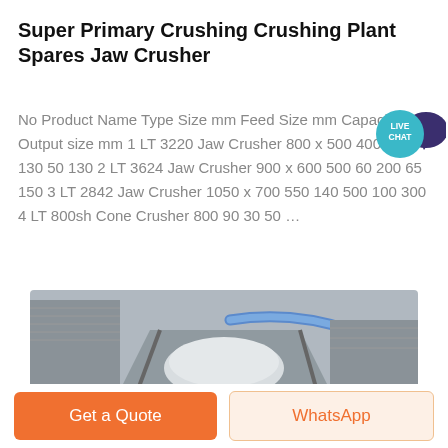Super Primary Crushing Crushing Plant Spares Jaw Crusher
No Product Name Type Size mm Feed Size mm Capacity tph Output size mm 1 LT 3220 Jaw Crusher 800 x 500 400 40 130 50 130 2 LT 3624 Jaw Crusher 900 x 600 500 60 200 65 150 3 LT 2842 Jaw Crusher 1050 x 700 550 140 500 100 300 4 LT 800sh Cone Crusher 800 90 30 50 …
[Figure (photo): Industrial crushing plant equipment photo showing metal hopper/chute structure with blue hose]
Get a Quote
WhatsApp